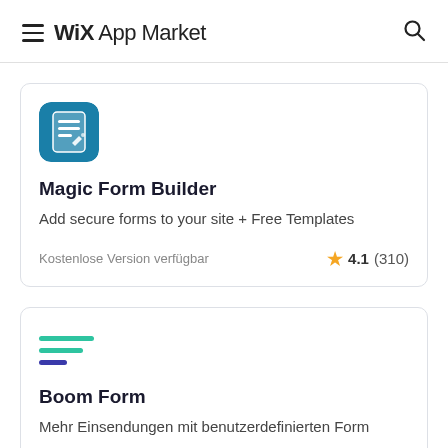WiX App Market
Magic Form Builder
Add secure forms to your site + Free Templates
Kostenlose Version verfügbar
4.1 (310)
Boom Form
Mehr Einsendungen mit benutzerdefinierten Form